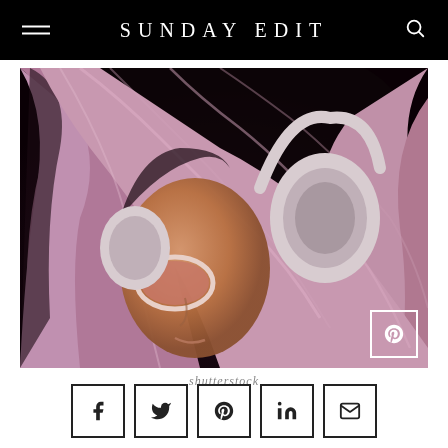SUNDAY EDIT
[Figure (photo): Close-up portrait of a young woman with long pink/mauve dip-dye hair, wearing white round sunglasses and white over-ear headphones, photographed against a dark background. A Pinterest save button overlay appears in the bottom-right corner of the image.]
shutterstock
[Figure (infographic): Row of five social sharing icon buttons: Facebook, Twitter, Pinterest, LinkedIn, Email]